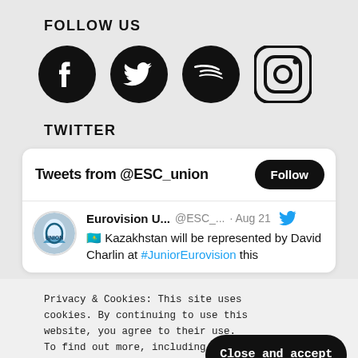FOLLOW US
[Figure (illustration): Four social media icons in a row: Facebook (filled black circle with f), Twitter (filled black circle with bird), Spotify (filled black circle with lines), Instagram (outlined square with circle camera icon)]
TWITTER
[Figure (screenshot): Twitter widget showing 'Tweets from @ESC_union' with a Follow button, and a tweet by Eurovision U... @ESC_... Aug 21 with Kazakhstan flag emoji: 'Kazakhstan will be represented by David Charlin at #JuniorEurovision this']
Privacy & Cookies: This site uses cookies. By continuing to use this website, you agree to their use.
To find out more, including how to control cookies, see here: Cookie Policy
[Figure (photo): Partial colorful image at the bottom of the page, appears to be a performance or artistic photo]